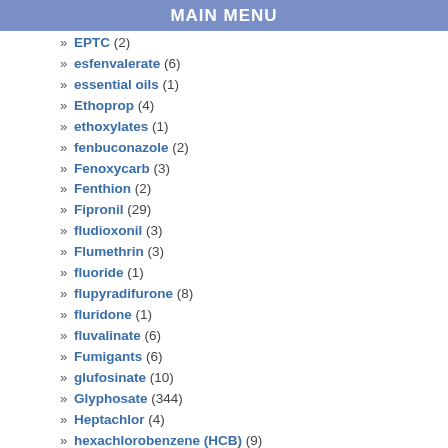MAIN MENU
» EPTC (2)
» esfenvalerate (6)
» essential oils (1)
» Ethoprop (4)
» ethoxylates (1)
» fenbuconazole (2)
» Fenoxycarb (3)
» Fenthion (2)
» Fipronil (29)
» fludioxonil (3)
» Flumethrin (3)
» fluoride (1)
» flupyradifurone (8)
» fluridone (1)
» fluvalinate (6)
» Fumigants (6)
» glufosinate (10)
» Glyphosate (344)
» Heptachlor (4)
» hexachlorobenzene (HCB) (9)
» hexazinone (1)
» hydramethylnon (1)
» Idomethane (1)
» Imazapyr (6)